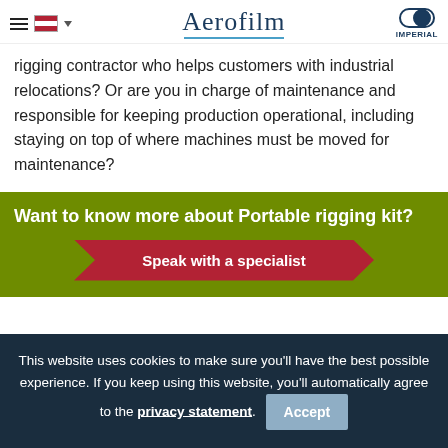Aerofilm — IMPERIAL
rigging contractor who helps customers with industrial relocations? Or are you in charge of maintenance and responsible for keeping production operational, including staying on top of where machines must be moved for maintenance?
Want to know more about Portable rigging kit?
Speak with a specialist
This website uses cookies to make sure you'll have the best possible experience. If you keep using this website, you'll automatically agree to the privacy statement. Accept